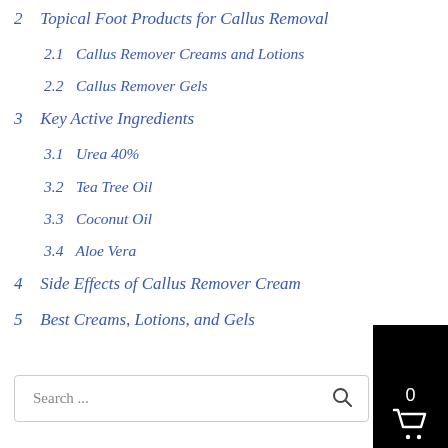2 Topical Foot Products for Callus Removal
2.1 Callus Remover Creams and Lotions
2.2 Callus Remover Gels
3 Key Active Ingredients
3.1 Urea 40%
3.2 Tea Tree Oil
3.3 Coconut Oil
3.4 Aloe Vera
4 Side Effects of Callus Remover Cream
5 Best Creams, Lotions, and Gels
[Figure (other): Shopping cart widget showing count 0 with cart icon on black background]
Search ...